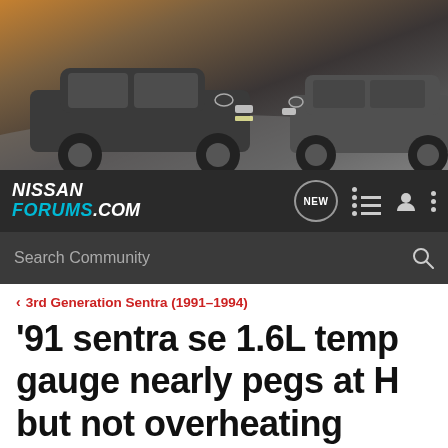[Figure (photo): Nissan Forums header banner showing two Nissan cars (a dark gray sedan on the left and a dark gray SUV on the right) on a road with a gradient background.]
NISSAN FORUMS.COM
Search Community
< 3rd Generation Sentra (1991–1994)
'91 sentra se 1.6L temp gauge nearly pegs at H but not overheating
→ Jump to Latest
+ Follow